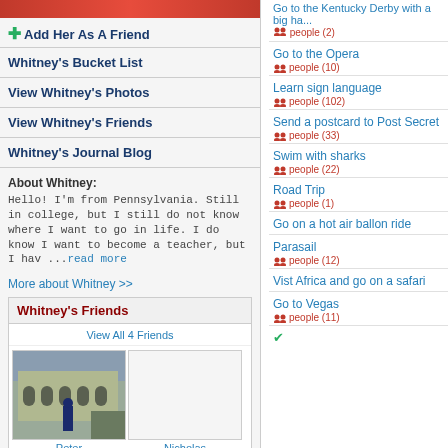[Figure (photo): Top banner photo strip, partial view]
+ Add Her As A Friend
Whitney's Bucket List
View Whitney's Photos
View Whitney's Friends
Whitney's Journal Blog
About Whitney:
Hello! I'm from Pennsylvania. Still in college, but I still do not know where I want to go in life. I do know I want to become a teacher, but I hav ...read more
More about Whitney >>
Whitney's Friends
View All 4 Friends
[Figure (photo): Friend photo: Peter - Colosseum]
Peter
[Figure (photo): Friend photo: Nicholas - placeholder]
Nicholas
Go to the Kentucky Derby with a big hat
people (2)
Go to the Opera
people (10)
Learn sign language
people (102)
Send a postcard to Post Secret
people (33)
Swim with sharks
people (22)
Road Trip
people (1)
Go on a hot air ballon ride
Parasail
people (12)
Vist Africa and go on a safari
Go to Vegas
people (11)